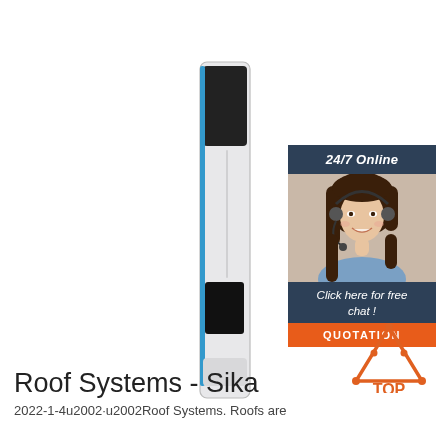[Figure (photo): A narrow white electronic device (possibly a slim terminal or sensor device) shown in side profile view against white background. The device has a dark top panel and a small dark rectangular sensor/reader in the lower middle area, with a thin blue light strip along the side.]
[Figure (infographic): Advertisement banner with dark navy background showing '24/7 Online' text at top, a photo of a smiling woman with headset (customer service representative), text 'Click here for free chat!' and orange button labeled 'QUOTATION'.]
[Figure (logo): TOP logo: orange/red triangle outline with dots, with word TOP in orange below.]
Roof Systems - Sika
2022-1-4u2002·u2002Roof Systems. Roofs are